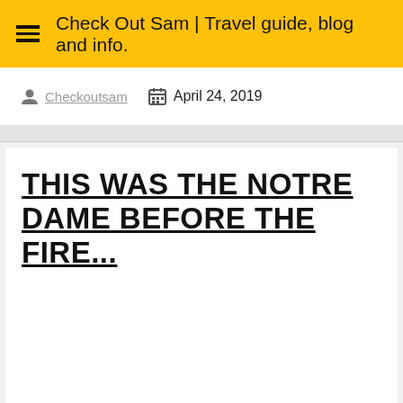Check Out Sam | Travel guide, blog and info.
Checkoutsam   April 24, 2019
THIS WAS THE NOTRE DAME BEFORE THE FIRE...
[Figure (photo): Photo area below article title (blank/loading image)]